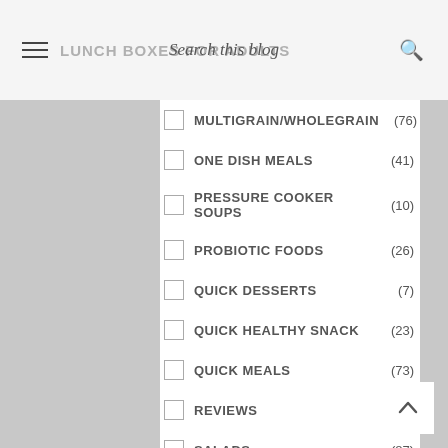LUNCH BOXES FOR ADULTS
MULTIGRAIN/WHOLEGRAIN (76)
ONE DISH MEALS (41)
PRESSURE COOKER SOUPS (10)
PROBIOTIC FOODS (26)
QUICK DESSERTS (7)
QUICK HEALTHY SNACK (23)
QUICK MEALS (73)
REVIEWS (70)
SALADS (87)
SOUPS (31)
SOUPS FOR THE WT. CONSCIOUS (52)
STIRFRY VEGGIES (32)